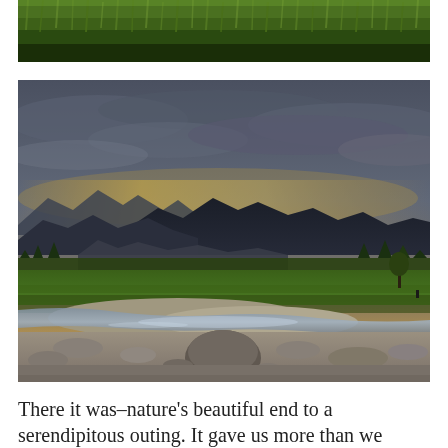[Figure (photo): Close-up of dense green grass or reeds from above, with dark soil visible at the bottom edge.]
[Figure (photo): Landscape photo of a mountain valley at dusk with a stream and rocky riverbed in the foreground, green meadows in the middle ground, dark mountain silhouettes, and a dramatic stormy sky with yellow-orange light on the horizon.]
There it was–nature's beautiful end to a serendipitous outing. It gave us more than we expected on a late August